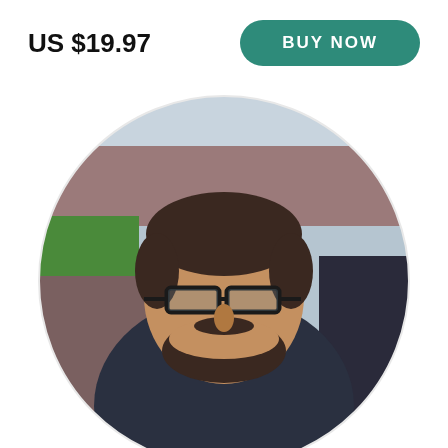US $19.97
BUY NOW
[Figure (photo): Circular profile photo of a bearded man wearing dark-rimmed glasses, at a football/soccer stadium with a crowd in the background, wearing a dark jacket.]